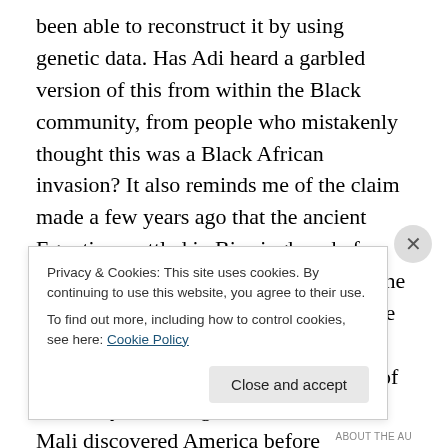been able to reconstruct it by using genetic data. Has Adi heard a garbled version of this from within the Black community, from people who mistakenly thought this was a Black African invasion? It also reminds me of the claim made a few years ago that the ancient Egyptians settled in Birmingham before the Roman conquest. This appeared in the Independent, but has, I understand, since been discredited. It also seems to me to have a certain kinship to another piece of Black myth-making, that sailors from Mali discovered America before Columbus, but didn't enslave the Amerindians. If this happened, it would be
Privacy & Cookies: This site uses cookies. By continuing to use this website, you agree to their use.
To find out more, including how to control cookies, see here: Cookie Policy
Close and accept